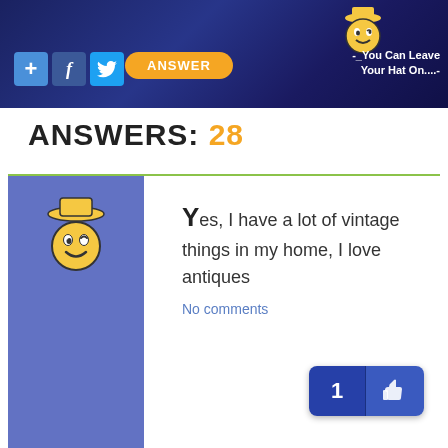[Figure (screenshot): Website header banner with dark blue background, social icons (plus, Facebook, Twitter), orange ANSWER button, mascot logo, and tagline '-_You Can Leave Your Hat On....-']
ANSWERS: 28
[Figure (screenshot): Answer card with blue left panel showing mascot, arrow notch, answer text reading 'Yes, I have a lot of vintage things in my home, I love antiques', No comments link, and like button with count 1]